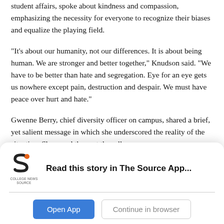student affairs, spoke about kindness and compassion, emphasizing the necessity for everyone to recognize their biases and equalize the playing field.
“It’s about our humanity, not our differences. It is about being human. We are stronger and better together,” Knudson said. “We have to be better than hate and segregation. Eye for an eye gets us nowhere except pain, destruction and despair. We must have peace over hurt and hate.”
Gwenne Berry, chief diversity officer on campus, shared a brief, yet salient message in which she underscored the reality of the situation. She urged those at the rally
[Figure (logo): College News Source logo — stylized 'S' in dark with orange accent, text reads COLLEGE NEWS SOURCE]
Read this story in The Source App...
Open App
Continue in browser